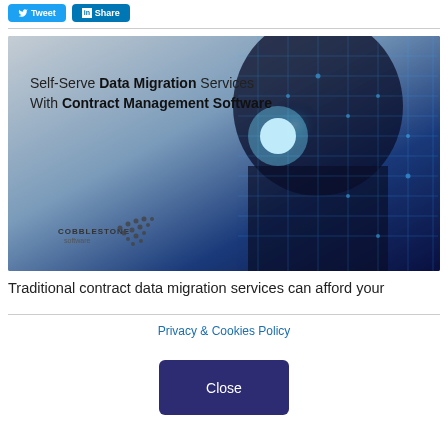[Figure (screenshot): Social media share buttons: Tweet (Twitter, blue) and Share (LinkedIn, blue)]
[Figure (photo): Promotional banner image for CobbleStone Software showing a person silhouette with digital/AI overlay. Text reads: Self-Serve Data Migration Services With Contract Management Software. CobbleStone Software logo in bottom left.]
Traditional contract data migration services can afford your
Privacy & Cookies Policy
Close